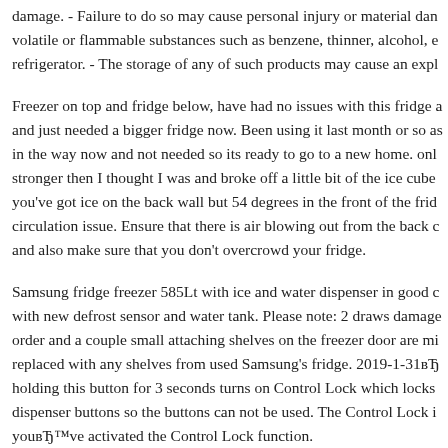damage. - Failure to do so may cause personal injury or material dan volatile or flammable substances such as benzene, thinner, alcohol, e refrigerator. - The storage of any of such products may cause an expl
Freezer on top and fridge below, have had no issues with this fridge a and just needed a bigger fridge now. Been using it last month or so as in the way now and not needed so its ready to go to a new home. onl stronger then I thought I was and broke off a little bit of the ice cube you've got ice on the back wall but 54 degrees in the front of the frid circulation issue. Ensure that there is air blowing out from the back c and also make sure that you don't overcrowd your fridge.
Samsung fridge freezer 585Lt with ice and water dispenser in good c with new defrost sensor and water tank. Please note: 2 draws damage order and a couple small attaching shelves on the freezer door are mi replaced with any shelves from used Samsung's fridge. 2019-1-31вЂ holding this button for 3 seconds turns on Control Lock which locks dispenser buttons so the buttons can not be used. The Control Lock i youвЂ™ve activated the Control Lock function.